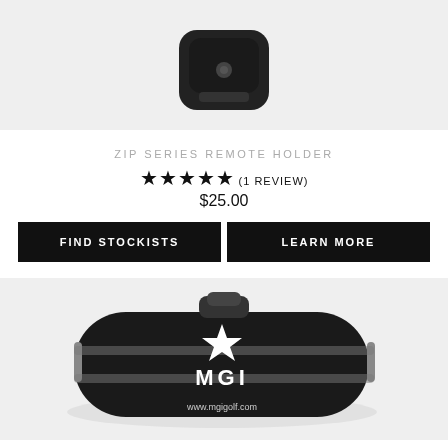[Figure (photo): Top portion of a black golf cart remote holder accessory, cropped at the top of the page]
ZIP SERIES REMOTE HOLDER
★★★★★ (1 REVIEW) $25.00
FIND STOCKISTS | LEARN MORE
[Figure (photo): Black MGI golf bag/travel cover with grey straps and MGI logo and www.mgigolf.com text on the front]